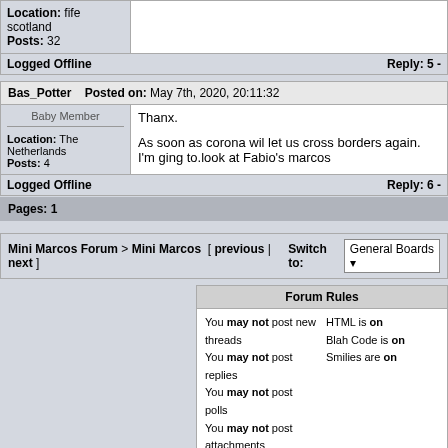| Location: fife scotland
Posts: 32 |  |
| Logged Offline | Reply: 5 - |
| Bas_Potter | Posted on: May 7th, 2020, 20:11:32 |
| Baby Member
Location: The Netherlands
Posts: 4 | Thanx.

As soon as corona wil let us cross borders again. I'm ging to.look at Fabio's marcos |
| Logged Offline | Reply: 6 - |
Pages: 1
Mini Marcos Forum > Mini Marcos [ previous | next ] Switch to: General Boards
| Forum Rules |
| --- |
| You may not post new threads | HTML is on |
| You may not post replies | Blah Code is on |
| You may not post polls | Smilies are on |
| You may not post attachments |  |
Powered by e-blah Platinum 7 Final © 2001-2004  –  August 23rd, 2022, 21:22:24
Files opened: 73 | Files closed: 73